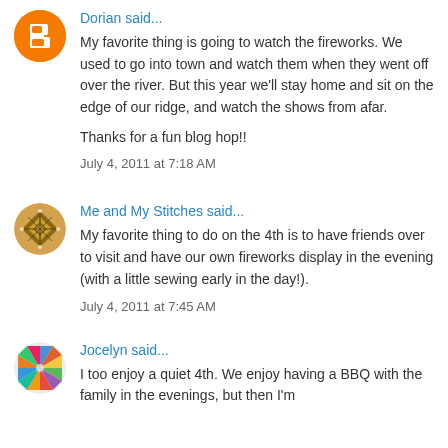Dorian said...
My favorite thing is going to watch the fireworks. We used to go into town and watch them when they went off over the river. But this year we'll stay home and sit on the edge of our ridge, and watch the shows from afar.
Thanks for a fun blog hop!!
July 4, 2011 at 7:18 AM
Me and My Stitches said...
My favorite thing to do on the 4th is to have friends over to visit and have our own fireworks display in the evening (with a little sewing early in the day!).
July 4, 2011 at 7:45 AM
Jocelyn said...
I too enjoy a quiet 4th. We enjoy having a BBQ with the family in the evenings, but then I'm